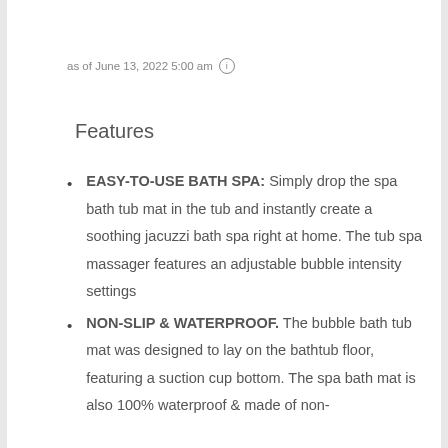as of June 13, 2022 5:00 am ⓘ
Features
EASY-TO-USE BATH SPA: Simply drop the spa bath tub mat in the tub and instantly create a soothing jacuzzi bath spa right at home. The tub spa massager features an adjustable bubble intensity settings
NON-SLIP & WATERPROOF. The bubble bath tub mat was designed to lay on the bathtub floor, featuring a suction cup bottom. The spa bath mat is also 100% waterproof & made of non-